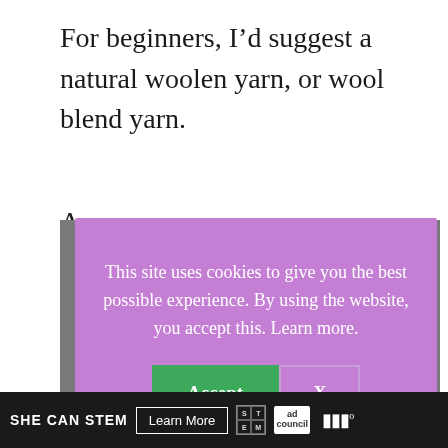For beginners, I’d suggest a natural woolen yarn, or wool blend yarn.
[Figure (screenshot): Cookie consent overlay (purple background) with text: 'This site uses cookies to give you the best possible experience. By using the website, you accept this. Learn more.' with Accept (green) and X (outline) buttons, overlaid on a photo of a yellow-green knitted hat on a white stand against grey fabric background.]
[Figure (photo): Yellow-green knitted beanie hat on a white cylindrical stand against grey textured fabric background.]
This site uses cookies to give you the best possible experience. By using the website, you accept this. Learn more.
SHE CAN STEM   Learn More